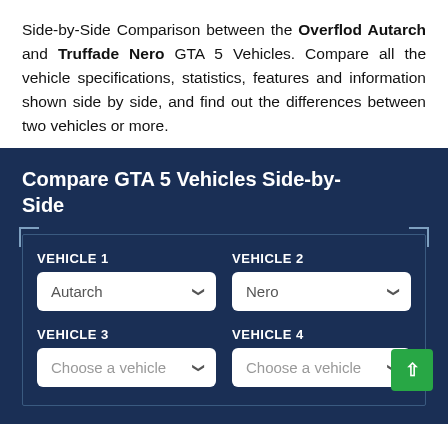Side-by-Side Comparison between the Overflod Autarch and Truffade Nero GTA 5 Vehicles. Compare all the vehicle specifications, statistics, features and information shown side by side, and find out the differences between two vehicles or more.
Compare GTA 5 Vehicles Side-by-Side
VEHICLE 1: Autarch | VEHICLE 2: Nero | VEHICLE 3: Choose a vehicle | VEHICLE 4: Choose a vehicle